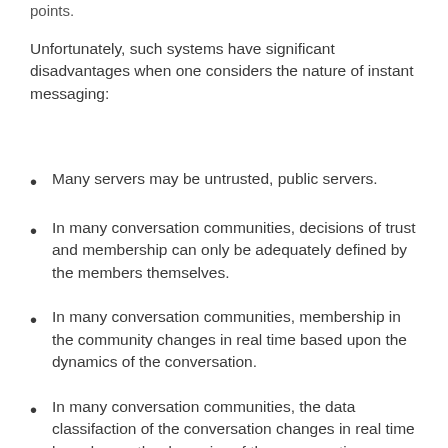points.
Unfortunately, such systems have significant disadvantages when one considers the nature of instant messaging:
Many servers may be untrusted, public servers.
In many conversation communities, decisions of trust and membership can only be adequately defined by the members themselves.
In many conversation communities, membership in the community changes in real time based upon the dynamics of the conversation.
In many conversation communities, the data classifaction of the conversation changes in real time based upon the dynamics of the conversation.